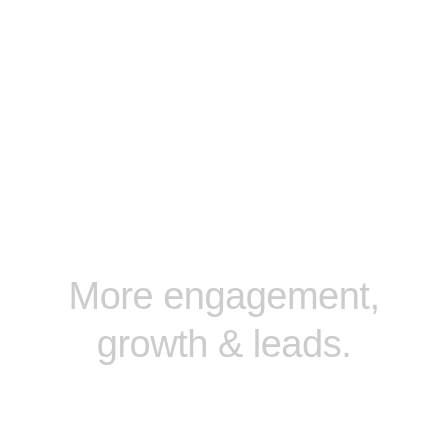More engagement, growth & leads.